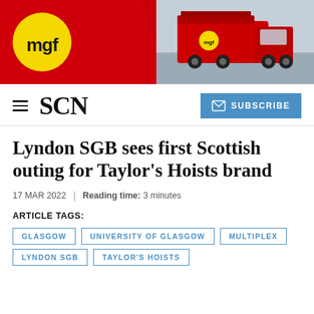[Figure (photo): MGF company banner with red background, yellow circular MGF logo on the left, and a red heavy truck/lorry photo on the right side]
SCN  SUBSCRIBE
Lyndon SGB sees first Scottish outing for Taylor’s Hoists brand
17 MAR 2022 | Reading time: 3 minutes
ARTICLE TAGS:
GLASGOW
UNIVERSITY OF GLASGOW
MULTIPLEX
LYNDON SGB
TAYLOR’S HOISTS